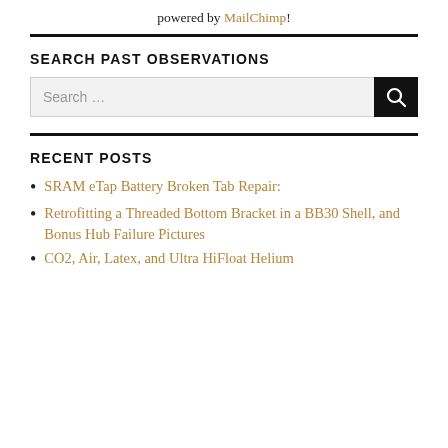powered by MailChimp!
SEARCH PAST OBSERVATIONS
Search ...
RECENT POSTS
SRAM eTap Battery Broken Tab Repair:
Retrofitting a Threaded Bottom Bracket in a BB30 Shell, and Bonus Hub Failure Pictures
CO2, Air, Latex, and Ultra HiFloat Helium